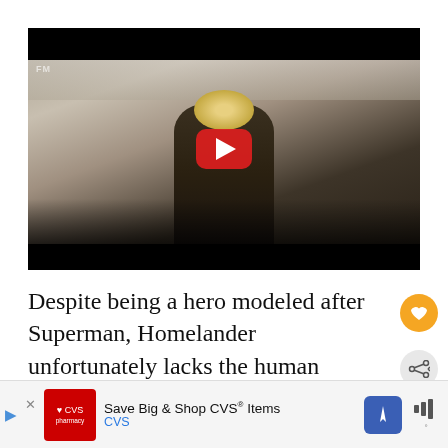[Figure (screenshot): Video thumbnail from a TV show scene showing a character in an airplane cabin, with a YouTube play button overlay. Scene shows a costumed figure (Homelander) standing in an aircraft aisle with passengers seated. Black letterbox bars top and bottom. Small 'FM' watermark top-left.]
Despite being a hero modeled after Superman, Homelander unfortunately lacks the human empathy that makes his DC counterpart a true hero. And Homelander's true personality comes…
[Figure (other): CVS Pharmacy advertisement banner: Save Big & Shop CVS Items, CVS brand. Navigation and audio icons on right side.]